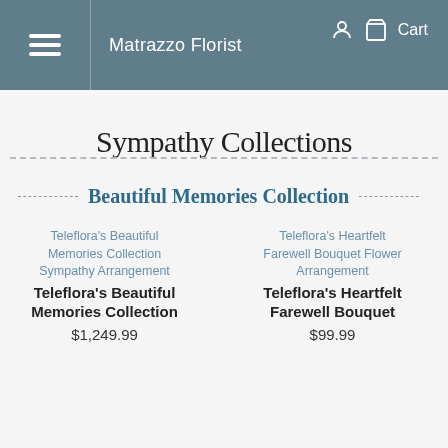Matrazzo Florist  Cart
Sympathy Collections
Beautiful Memories Collection
Teleflora's Beautiful Memories Collection Sympathy Arrangement
Teleflora's Beautiful Memories Collection
$1,249.99
Teleflora's Heartfelt Farewell Bouquet Flower Arrangement
Teleflora's Heartfelt Farewell Bouquet
$99.99